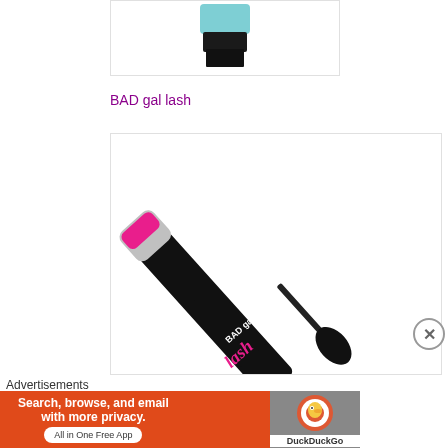[Figure (photo): Partial product image showing bottom of a teal/black cosmetic tube against white background]
BAD gal lash
[Figure (photo): BAD gal lash mascara product photo showing black tube with pink cursive 'lash' text and mascara wand brush against white background]
Advertisements
[Figure (photo): DuckDuckGo advertisement banner: Search, browse, and email with more privacy. All in One Free App]